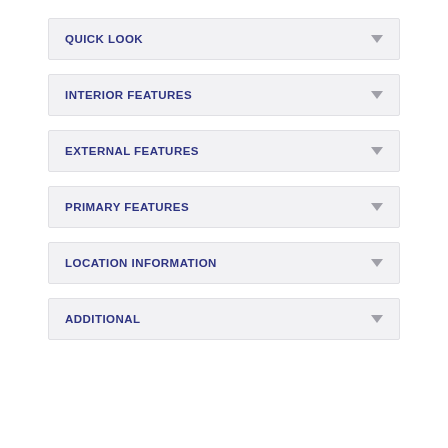QUICK LOOK
INTERIOR FEATURES
EXTERNAL FEATURES
PRIMARY FEATURES
LOCATION INFORMATION
ADDITIONAL